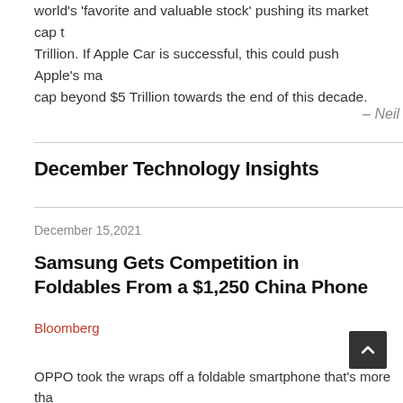world's 'favorite and valuable stock' pushing its market cap t Trillion. If Apple Car is successful, this could push Apple's ma cap beyond $5 Trillion towards the end of this decade.
– Neil
December Technology Insights
December 15,2021
Samsung Gets Competition in Foldables From a $1,250 China Phone
Bloomberg
OPPO took the wraps off a foldable smartphone that's more tha